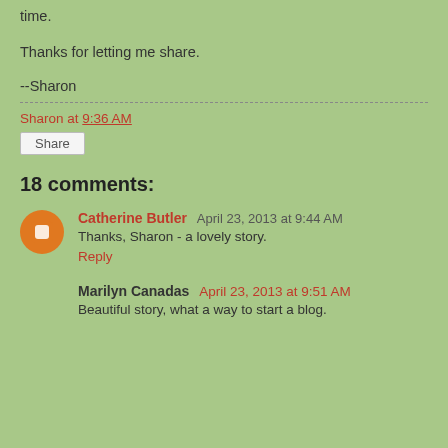time.
Thanks for letting me share.
--Sharon
Sharon at 9:36 AM
Share
18 comments:
Catherine Butler  April 23, 2013 at 9:44 AM
Thanks, Sharon - a lovely story.
Reply
Marilyn Canadas  April 23, 2013 at 9:51 AM
Beautiful story, what a way to start a blog.